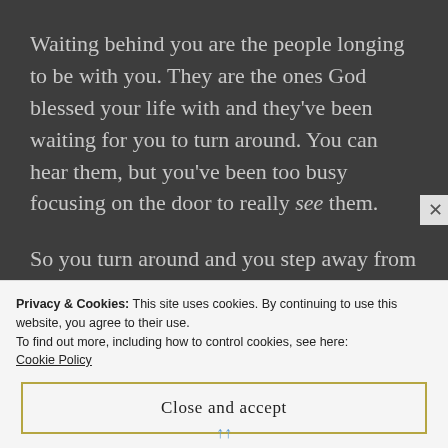Waiting behind you are the people longing to be with you. They are the ones God blessed your life with and they've been waiting for you to turn around. You can hear them, but you've been too busy focusing on the door to really see them.
So you turn around and you step away from the closed door, away from the opportunity or the toxicity of a relationship beyond the door that God is trying to protect you from. Perhaps you need to guard your heart from what's beyond
Privacy & Cookies: This site uses cookies. By continuing to use this website, you agree to their use.
To find out more, including how to control cookies, see here:
Cookie Policy
Close and accept